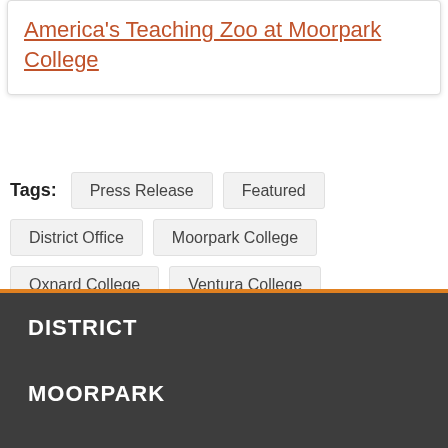America's Teaching Zoo at Moorpark College
Tags: Press Release  Featured  District Office  Moorpark College  Oxnard College  Ventura College
DISTRICT
MOORPARK